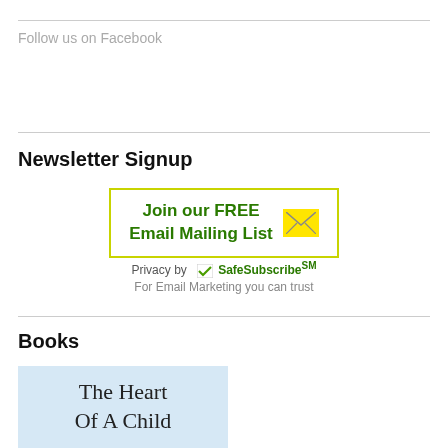Follow us on Facebook
Newsletter Signup
[Figure (other): Newsletter signup button: 'Join our FREE Email Mailing List' with yellow email icon, bordered in yellow-green]
Privacy by SafeSubscribe℠
For Email Marketing you can trust
Books
[Figure (illustration): Book cover with light blue background showing 'The Heart Of A Child']